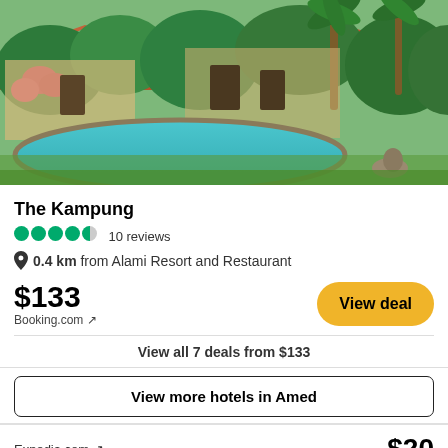[Figure (photo): Photo of The Kampung hotel showing a tropical resort with pool, lush greenery, palm trees, bougainvillea flowers, and traditional Balinese-style buildings with terracotta roofs]
The Kampung
4.5 circles  10 reviews
0.4 km from Alami Resort and Restaurant
$133
Booking.com ↗
View deal
View all 7 deals from $133
View more hotels in Amed
Expedia.com ↗
$20
View deal